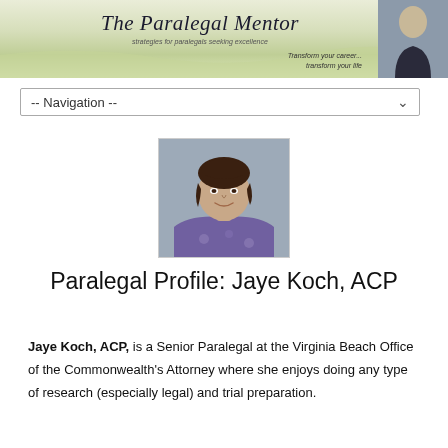[Figure (illustration): The Paralegal Mentor website header banner with cursive title text, subtitle 'strategies for paralegals seeking excellence', tagline 'Transform your career... transform your life', and a photo of a woman on the right side]
-- Navigation --
[Figure (photo): Headshot photo of Jaye Koch, ACP - a woman with short dark hair wearing a purple floral top]
Paralegal Profile: Jaye Koch, ACP
Jaye Koch, ACP, is a Senior Paralegal at the Virginia Beach Office of the Commonwealth's Attorney where she enjoys doing any type of research (especially legal) and trial preparation.